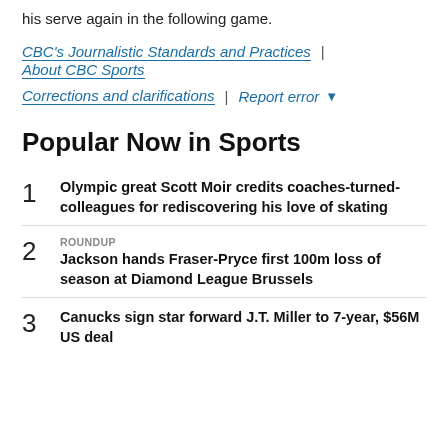his serve again in the following game.
CBC's Journalistic Standards and Practices | About CBC Sports
Corrections and clarifications | Report error
Popular Now in Sports
1 Olympic great Scott Moir credits coaches-turned-colleagues for rediscovering his love of skating
2 ROUNDUP Jackson hands Fraser-Pryce first 100m loss of season at Diamond League Brussels
3 Canucks sign star forward J.T. Miller to 7-year, $56M US deal